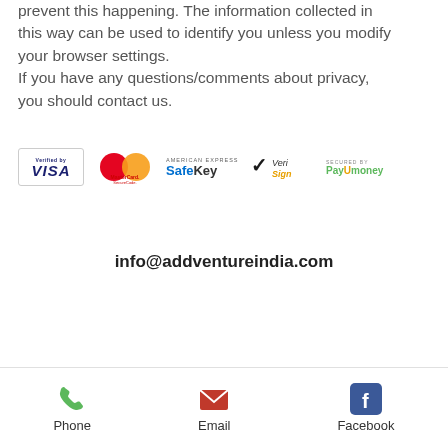prevent this happening. The information collected in this way can be used to identify you unless you modify your browser settings.
If you have any questions/comments about privacy, you should contact us.
[Figure (logo): Payment security logos: Verified by Visa, MasterCard SecureCode, American Express SafeKey, VeriSign, Secured by PayUmoney]
info@addventureindia.com
[Figure (infographic): Footer bar with Phone, Email, and Facebook icons and labels]